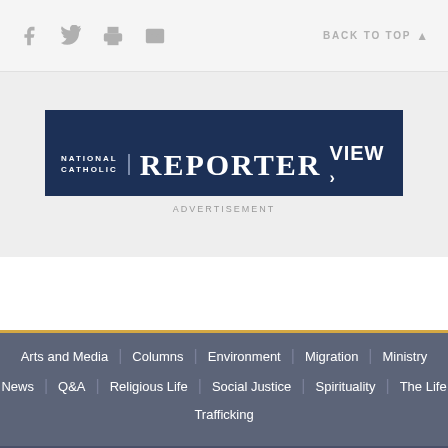Social share icons and BACK TO TOP navigation
[Figure (logo): National Catholic Reporter VIEW advertisement banner in dark navy blue]
ADVERTISEMENT
Arts and Media
Columns
Environment
Migration
Ministry
News
Q&A
Religious Life
Social Justice
Spirituality
The Life
Trafficking
About Global Sisters Report
Our Mission